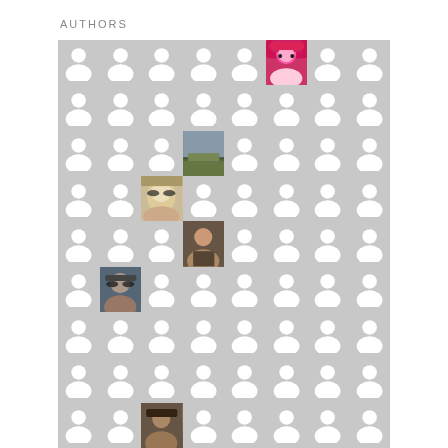AUTHORS
[Figure (infographic): Grid of author avatars (placeholder silhouettes) with some real profile photos mixed in. 8 columns x 9 rows grid on a light gray background. A few cells show actual photos: a woman in a pink hat and sunglasses (row 1, col 6), a nature/outdoor photo (row 3, col 5), a blonde woman with sunglasses (row 4, col 4), a woman indoors (row 5, col 5), a man with sunglasses (row 6, col 3), a young man (row 9, col 3). The rest are white silhouette placeholder avatars on gray.]